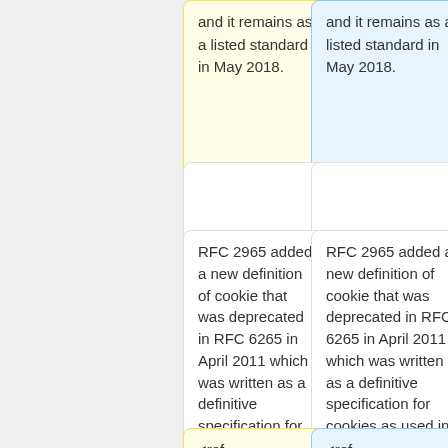and it remains as a listed standard in May 2018.
and it remains as a listed standard in May 2018.
RFC 2965 added a new definition of cookie that was deprecated in RFC 6265 in April 2011 which was written as a definitive specification for cookies as used in the real world.
RFC 2965 added a new definition of cookie that was deprecated in RFC 6265 in April 2011 which was written as a definitive specification for cookies as used in the real world.
<ref name="HTTPStateMgmtToPS"> Jeff hodges and Bill Corry "HTTP State
<ref name="HTTPStateMgmtToPS"> Jeff Hodges and Bill Corry "HTTP State